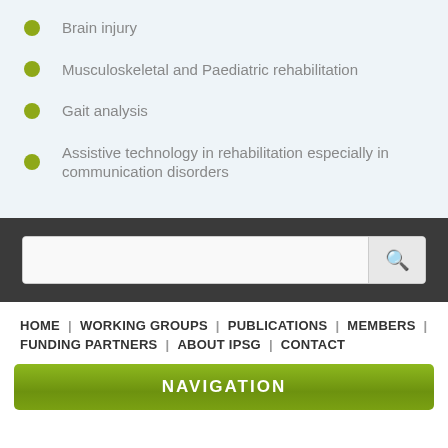Brain injury
Musculoskeletal and Paediatric rehabilitation
Gait analysis
Assistive technology in rehabilitation especially in communication disorders
Search bar
HOME | WORKING GROUPS | PUBLICATIONS | MEMBERS | FUNDING PARTNERS | ABOUT IPSG | CONTACT
NAVIGATION